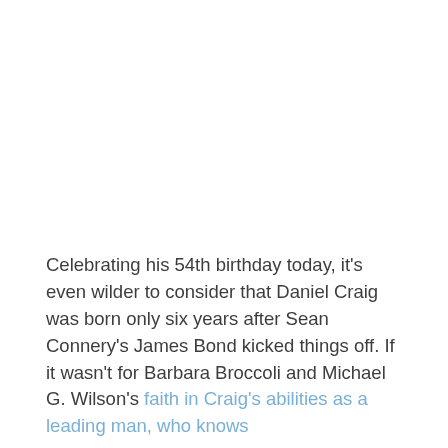Celebrating his 54th birthday today, it's even wilder to consider that Daniel Craig was born only six years after Sean Connery's James Bond kicked things off. If it wasn't for Barbara Broccoli and Michael G. Wilson's faith in Craig's abilities as a leading man, who knows